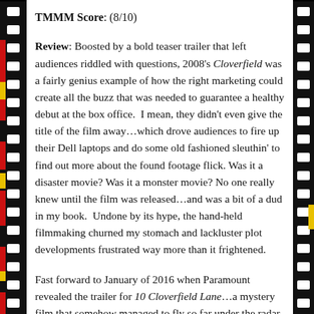TMMM Score: (8/10)
Review: Boosted by a bold teaser trailer that left audiences riddled with questions, 2008's Cloverfield was a fairly genius example of how the right marketing could create all the buzz that was needed to guarantee a healthy debut at the box office.  I mean, they didn't even give the title of the film away…which drove audiences to fire up their Dell laptops and do some old fashioned sleuthin' to find out more about the found footage flick. Was it a disaster movie? Was it a monster movie? No one really knew until the film was released…and was a bit of a dud in my book.  Undone by its hype, the hand-held filmmaking churned my stomach and lackluster plot developments frustrated way more than it frightened.
Fast forward to January of 2016 when Paramount revealed the trailer for 10 Cloverfield Lane…a mystery film that somehow managed to fly so far under the radar that even the most tapped in film fans were thrown for a loop.  In this day and